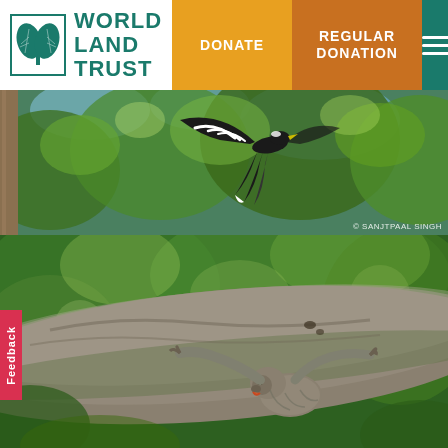[Figure (logo): World Land Trust logo with teal leaf design and organization name]
DONATE | REGULAR DONATION
[Figure (photo): Bird with black and white wings spread, flying through green forest canopy. Photo credit: © SANJTPAAL SINGH]
[Figure (photo): Sloth clinging to a large mossy tree trunk in tropical rainforest, viewed from below]
Feedback